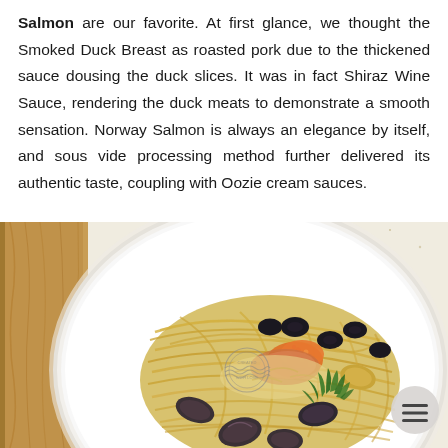Salmon are our favorite. At first glance, we thought the Smoked Duck Breast as roasted pork due to the thickened sauce dousing the duck slices. It was in fact Shiraz Wine Sauce, rendering the duck meats to demonstrate a smooth sensation. Norway Salmon is always an elegance by itself, and sous vide processing method further delivered its authentic taste, coupling with Oozie cream sauces.
[Figure (photo): A white plate with spaghetti pasta topped with olives, seafood (mussels/clams), orange fish roe, herbs, and grated cheese. A small circular stamp/seal is visible on the side of the dish. A wooden board is partially visible on the left edge. A circular grey hamburger menu button (three horizontal lines) is in the lower right corner.]